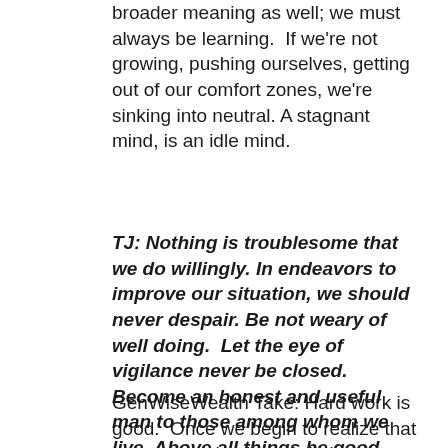broader meaning as well; we must always be learning.  If we're not growing, pushing ourselves, getting out of our comfort zones, we're sinking into neutral. A stagnant mind, is an idle mind.
TJ: Nothing is troublesome that we do willingly. In endeavors to improve our situation, we should never despair. Be not weary of well doing.  Let the eye of vigilance never be closed. Become an honest and useful man to those among whom we live. Above all things be good, because without that we can neither be valued by others nor set any value on ourselves.
GenWiseWealth Take: Hard work is good.  Once we begin to realize that we are growing in our challenges, once we begin to learn...